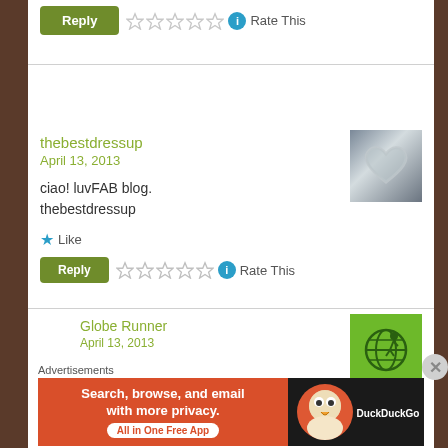Reply | Rate This (stars)
thebestdressup
April 13, 2013

ciao! luvFAB blog.
thebestdressup
[Figure (photo): Silver heart avatar image]
Like
Reply | Rate This (stars)
Globe Runner
April 13, 2013
[Figure (logo): Globe Runner green avatar with globe icon]
Advertisements
[Figure (screenshot): DuckDuckGo advertisement banner: Search, browse, and email with more privacy. All in One Free App]